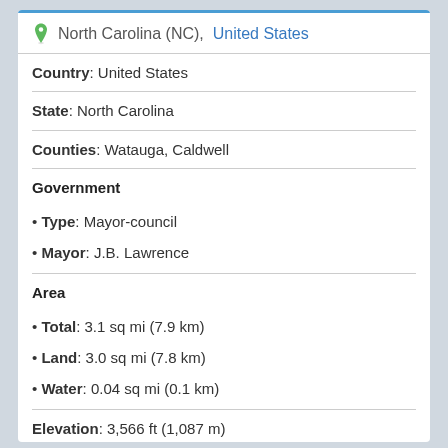North Carolina (NC), United States
Country: United States
State: North Carolina
Counties: Watauga, Caldwell
Government
• Type: Mayor-council
• Mayor: J.B. Lawrence
Area
• Total: 3.1 sq mi (7.9 km)
• Land: 3.0 sq mi (7.8 km)
• Water: 0.04 sq mi (0.1 km)
Elevation: 3,566 ft (1,087 m)
Population (2010)
• Total: 1,241